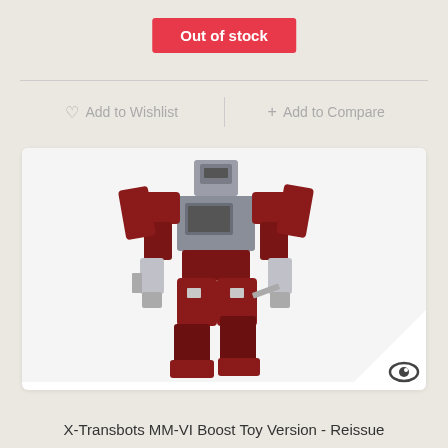Out of stock
♡  Add to Wishlist
+ Add to Compare
[Figure (photo): Red and gray Transformers-style robot action figure (X-Transbots MM-VI Boost Toy Version Reissue) posed in a walking stance against a white background. The figure has predominantly dark red/maroon body panels with gray/silver chest and head pieces and chrome silver joint details.]
X-Transbots MM-VI Boost Toy Version - Reissue